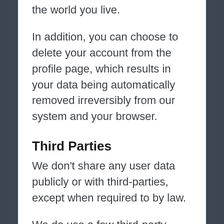the world you live.
In addition, you can choose to delete your account from the profile page, which results in your data being automatically removed irreversibly from our system and your browser.
Third Parties
We don't share any user data publicly or with third-parties, except when required to by law.
We do use a few third-party scripts with whom we share non-personal data for the following purposes: